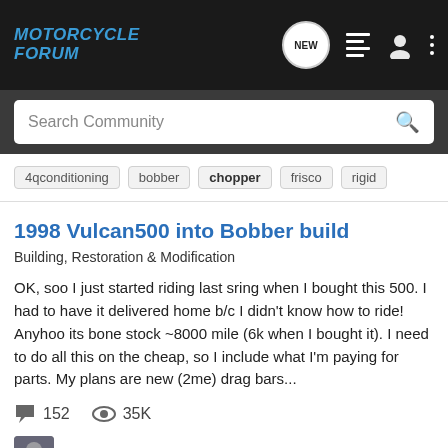MOTORCYCLE FORUM
Search Community
4qconditioning  bobber  chopper  frisco  rigid
1998 Vulcan500 into Bobber build
Building, Restoration & Modification
OK, soo I just started riding last sring when I bought this 500. I had to have it delivered home b/c I didn't know how to ride! Anyhoo its bone stock ~8000 mile (6k when I bought it). I need to do all this on the cheap, so I include what I'm paying for parts. My plans are new (2me) drag bars...
152 comments  35K views
tigett · Oct 9, 2008
bob  chopper  custom